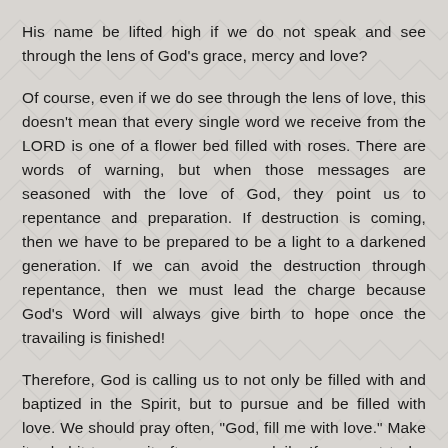His name be lifted high if we do not speak and see through the lens of God’s grace, mercy and love?
Of course, even if we do see through the lens of love, this doesn’t mean that every single word we receive from the LORD is one of a flower bed filled with roses. There are words of warning, but when those messages are seasoned with the love of God, they point us to repentance and preparation. If destruction is coming, then we have to be prepared to be a light to a darkened generation. If we can avoid the destruction through repentance, then we must lead the charge because God’s Word will always give birth to hope once the travailing is finished!
Therefore, God is calling us to not only be filled with and baptized in the Spirit, but to pursue and be filled with love. We should pray often, “God, fill me with love.” Make it a habit to pray it often, or even daily. If we want to be world changers, we